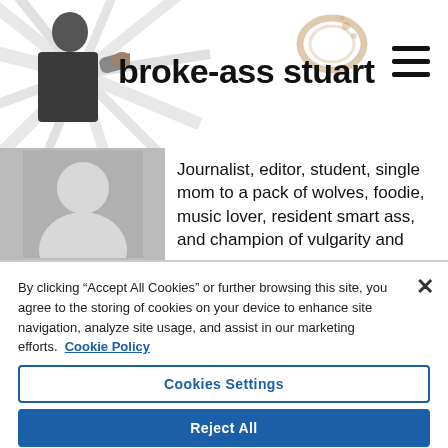broke-ass stuart
[Figure (illustration): Person in dark clothing pointing at camera, with starburst background rays and coffee stain graphic]
Journalist, editor, student, single mom to a pack of wolves, foodie, music lover, resident smart ass, and champion of vulgarity and
By clicking “Accept All Cookies” or further browsing this site, you agree to the storing of cookies on your device to enhance site navigation, analyze site usage, and assist in our marketing efforts. Cookie Policy
Cookies Settings
Reject All
Accept All Cookies